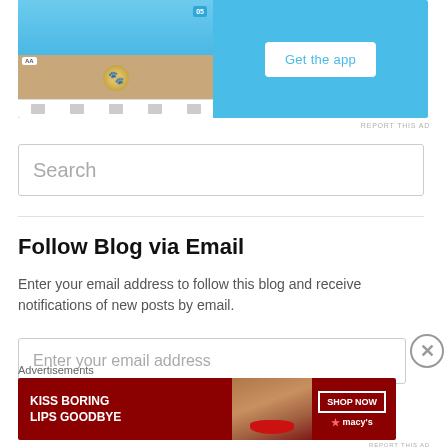[Figure (screenshot): App advertisement banner with blue background, phone screenshot on left showing app UI, and 'Get the app' button on right]
REPORT THIS AD
[Figure (screenshot): Search input field with placeholder text 'Search']
Follow Blog via Email
Enter your email address to follow this blog and receive notifications of new posts by email.
[Figure (screenshot): Email input field with placeholder text 'Enter your email address']
Advertisements
[Figure (photo): Macy's advertisement: KISS BORING LIPS GOODBYE with SHOP NOW button, woman's face with red lips, Macy's star logo]
REPORT THIS AD